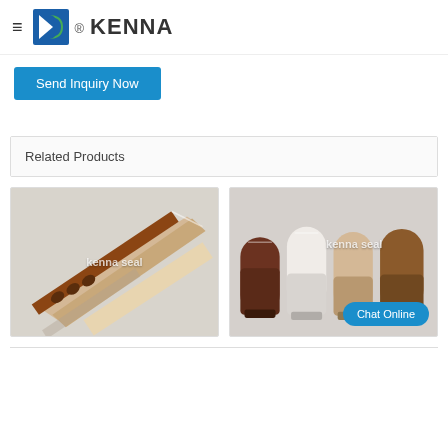KENNA
Send Inquiry Now
Related Products
[Figure (photo): Tile edge trim strips in brown and beige colors with watermark 'kenna seal']
[Figure (photo): Door threshold/transition strips in brown, white and beige colors with watermark 'kenna seal']